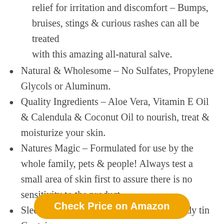relief for irritation and discomfort – Bumps, bruises, stings & curious rashes can all be treated with this amazing all-natural salve.
Natural & Wholesome – No Sulfates, Propylene Glycols or Aluminum.
Quality Ingredients – Aloe Vera, Vitamin E Oil & Calendula & Coconut Oil to nourish, treat & moisturize your skin.
Natures Magic – Formulated for use by the whole family, pets & people! Always test a small area of skin first to assure there is no sensitivity to the product.
Sleek & User-friendly- Reusable and sturdy tin Container.
Check Price on Amazon